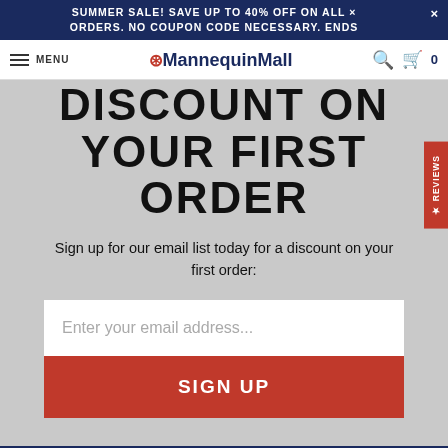SUMMER SALE! SAVE UP TO 40% OFF ON ALL ORDERS. NO COUPON CODE NECESSARY. ENDS
MENU | MannequinMall | 🔍 | 🛒 0
DISCOUNT ON YOUR FIRST ORDER
Sign up for our email list today for a discount on your first order:
Enter your email address...
SIGN UP